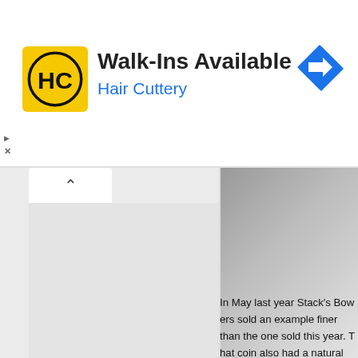[Figure (screenshot): Hair Cuttery advertisement banner with logo, 'Walk-Ins Available' heading, brand name, and navigation arrow icon]
[Figure (screenshot): Webpage screenshot showing a collapsed panel with a chevron-up button, a gray sidebar, a partial coin/object photograph on the right, and article text about Stack's Bowers auction sales]
In May last year Stack's Bow... than the one sold this year. T... natural patina, which is appr... to have collected coins with n...
In the sale this month the mo... Details – Stained.
Director of Asian Operations... in the auction were sold for n...